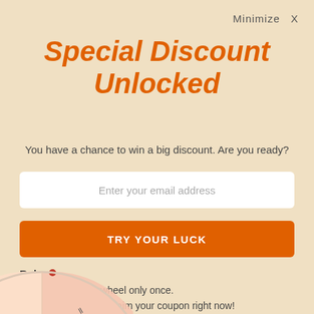Minimize  X
Special Discount Unlocked
You have a chance to win a big discount. Are you ready?
Enter your email address
TRY YOUR LUCK
Rules
You can spin the wheel only once.
If you win, you can claim your coupon right now!
[Figure (illustration): Partial view of a spin-the-wheel / prize wheel at the bottom of the page, showing the top arc of the wheel with colorful segments and a small red dot marker.]